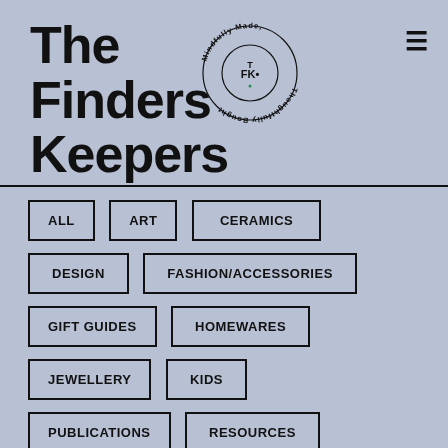The Finders Keepers
[Figure (logo): Circular logo with text 'Mindfully Made, Thoughtfully Bought' around a circle containing 'TFK' initials]
ALL
ART
CERAMICS
DESIGN
FASHION/ACCESSORIES
GIFT GUIDES
HOMEWARES
JEWELLERY
KIDS
PUBLICATIONS
RESOURCES